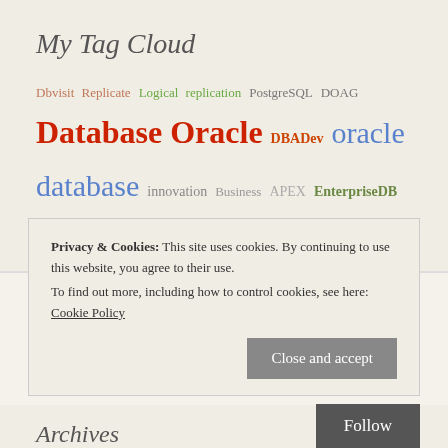My Tag Cloud
Dbvisit Replicate Logical replication PostgreSQL DOAG Database Oracle DBADev oracle database innovation Business APEX EnterpriseDB Standard Edition Development orclsert
Privacy & Cookies: This site uses cookies. By continuing to use this website, you agree to their use. To find out more, including how to control cookies, see here: Cookie Policy
Close and accept
Follow
Archives